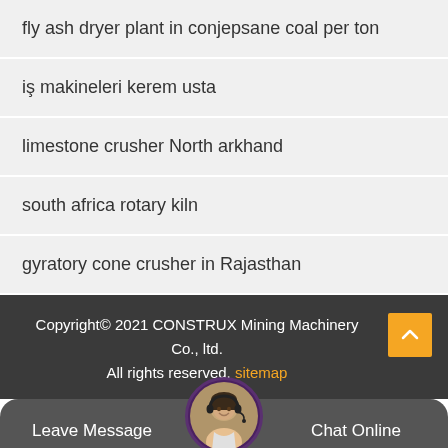fly ash dryer plant in conjepsane coal per ton
iş makineleri kerem usta
limestone crusher North arkhand
south africa rotary kiln
gyratory cone crusher in Rajasthan
Copyright© 2021 CONSTRUX Mining Machinery Co., ltd. All rights reserved. sitemap
Leave Message  Chat Online